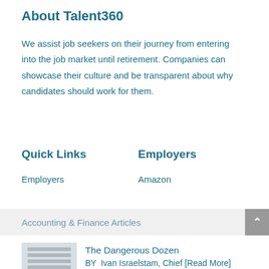About Talent360
We assist job seekers on their journey from entering into the job market until retirement.  Companies can showcase their culture and be transparent about why candidates should work for them.
Quick Links
Employers
Employers
Amazon
Accounting & Finance Articles
[Figure (photo): Thumbnail image of stacked papers/documents for article]
The Dangerous Dozen
BY  Ivan Israelstam, Chief [Read More]
[Figure (photo): Thumbnail image for second article about promotion]
BEWARE OF IGNORING PROMOTION